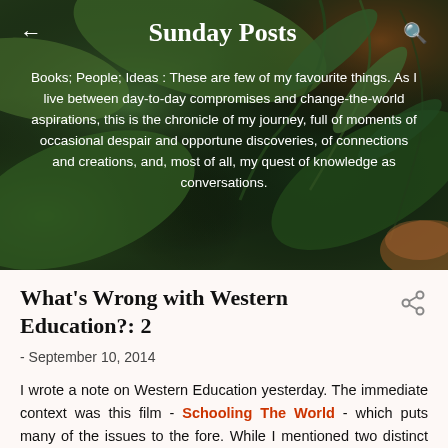Sunday Posts
Books; People; Ideas : These are few of my favourite things. As I live between day-to-day compromises and change-the-world aspirations, this is the chronicle of my journey, full of moments of occasional despair and opportune discoveries, of connections and creations, and, most of all, my quest of knowledge as conversations.
What's Wrong with Western Education?: 2
- September 10, 2014
I wrote a note on Western Education yesterday. The immediate context was this film - Schooling The World - which puts many of the issues to the fore. While I mentioned two distinct objections to Western Education, its association with decline of the traditional societies and ways of life and the